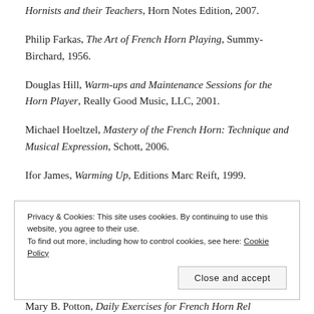Hornists and their Teachers, Horn Notes Edition, 2007.
Philip Farkas, The Art of French Horn Playing, Summy-Birchard, 1956.
Douglas Hill, Warm-ups and Maintenance Sessions for the Horn Player, Really Good Music, LLC, 2001.
Michael Hoeltzel, Mastery of the French Horn: Technique and Musical Expression, Schott, 2006.
Ifor James, Warming Up, Editions Marc Reift, 1999.
Privacy & Cookies: This site uses cookies. By continuing to use this website, you agree to their use. To find out more, including how to control cookies, see here: Cookie Policy
Close and accept
Mary B. Potton, Daily Exercises for French Horn Rel...